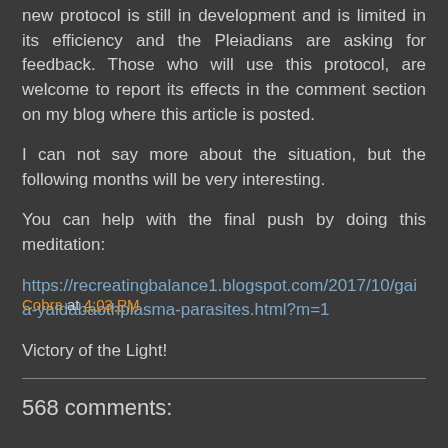new protocol is still in development and is limited in its efficiency and the Pleiadians are asking for feedback. Those who will use this protocol, are welcome to report its effects in the comment section on my blog where this article is posted.
I can not say more about the situation, but the following months will be very interesting.
You can help with the final push by doing this meditation:
https://recreatingbalance1.blogspot.com/2017/10/gaia-yaldabaothplasma-parasites.html?m=1
Victory of the Light!
Cobra at 4:03 PM
Share
568 comments: